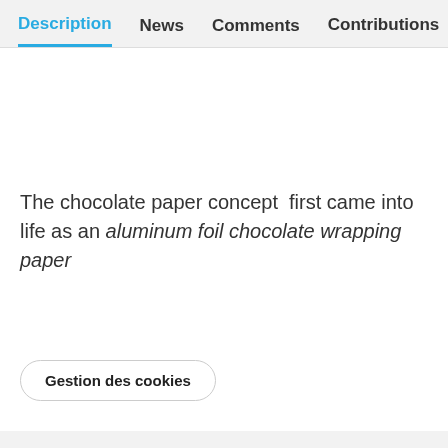Description  News  Comments  Contributions 9
The chocolate paper concept  first came into life as an aluminum foil chocolate wrapping paper
Gestion des cookies